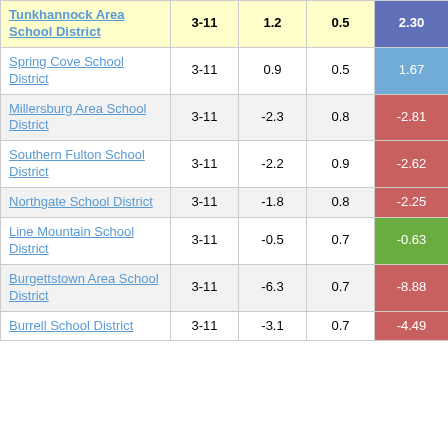| School District | Grades | Col3 | Col4 | Score |
| --- | --- | --- | --- | --- |
| Tunkhannock Area School District | 3-11 | 1.2 | 0.5 | 2.30 |
| Spring Cove School District | 3-11 | 0.9 | 0.5 | 1.67 |
| Millersburg Area School District | 3-11 | -2.3 | 0.8 | -2.81 |
| Southern Fulton School District | 3-11 | -2.2 | 0.9 | -2.62 |
| Northgate School District | 3-11 | -1.8 | 0.8 | -2.25 |
| Line Mountain School District | 3-11 | -0.5 | 0.7 | -0.63 |
| Burgettstown Area School District | 3-11 | -6.3 | 0.7 | -8.88 |
| Burrell School District | 3-11 | -3.1 | 0.7 | -4.49 |